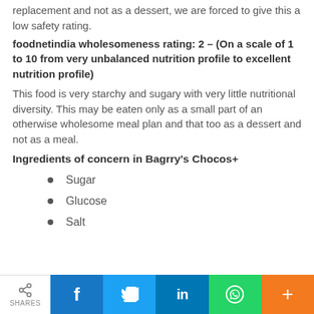replacement and not as a dessert, we are forced to give this a low safety rating.
foodnetindia wholesomeness rating: 2 – (On a scale of 1 to 10 from very unbalanced nutrition profile to excellent nutrition profile)
This food is very starchy and sugary with very little nutritional diversity. This may be eaten only as a small part of an otherwise wholesome meal plan and that too as a dessert and not as a meal.
Ingredients of concern in Bagrry's Chocos+
Sugar
Glucose
Salt
SHARES | f | t | in | WhatsApp | +